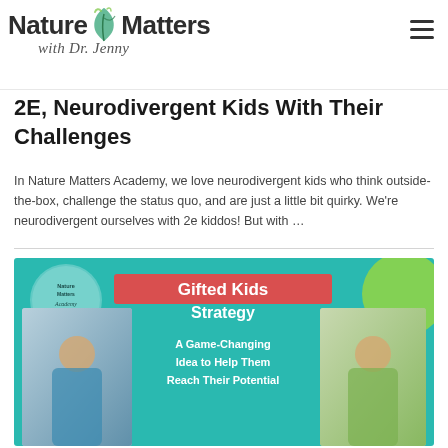Nature Matters with Dr. Jenny
2E, Neurodivergent Kids With Their Challenges
In Nature Matters Academy, we love neurodivergent kids who think outside-the-box, challenge the status quo, and are just a little bit quirky. We're neurodivergent ourselves with 2e kiddos! But with …
[Figure (illustration): Promotional banner for Nature Matters Academy showing 'Gifted Kids Strategy: A Game-Changing Idea to Help Them Reach Their Potential' with photos of children and teal background]